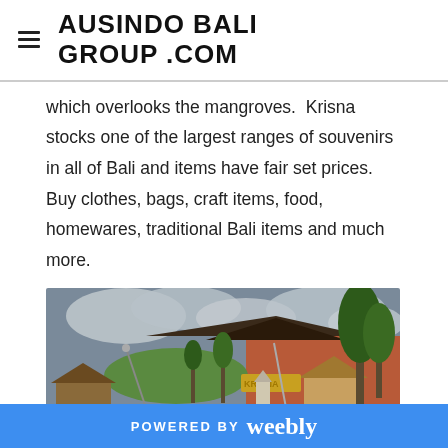AUSINDO BALI GROUP .COM
which overlooks the mangroves.  Krisna stocks one of the largest ranges of souvenirs in all of Bali and items have fair set prices. Buy clothes, bags, craft items, food, homewares, traditional Bali items and much more.
[Figure (photo): Exterior view of Krisna souvenir shop in Bali, showing a large building with traditional Balinese architecture, surrounded by lush green rice fields and tropical trees under a cloudy sky.]
POWERED BY weebly